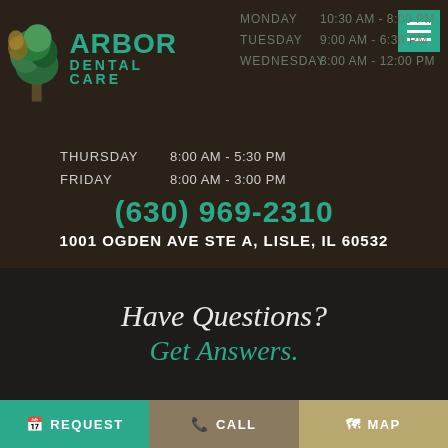[Figure (logo): Arbor Dental Care logo with tree illustration and teal text]
| Day | Hours |
| --- | --- |
| MONDAY | 10:30 AM - 8:00 PM |
| TUESDAY | 9:00 AM - 6:30 PM |
| WEDNESDAY | 8:00 AM - 12:00 PM |
| THURSDAY | 8:00 AM - 5:30 PM |
| FRIDAY | 8:00 AM - 3:00 PM |
(630) 969-2310
1001 OGDEN AVE STE A, LISLE, IL 60532
Have Questions? Get Answers.
Name
REQUEST  CALL  MAP